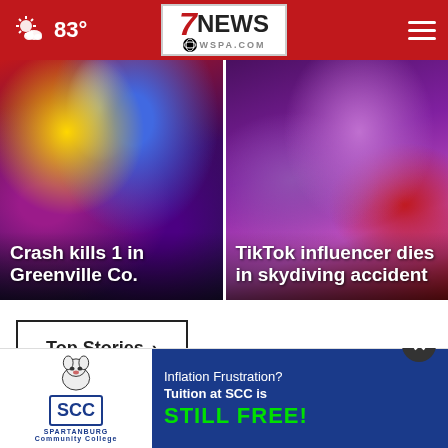7NEWS WSPA.COM | 83°
[Figure (photo): Police emergency lights (red, blue, purple blur) — left news card]
Crash kills 1 in Greenville Co.
[Figure (photo): Police car at night with purple/pink lighting — right news card]
TikTok influencer dies in skydiving accident
Top Stories ›
[Figure (infographic): Spartanburg Community College (SCC) advertisement banner — 'Inflation Frustration? Tuition at SCC is STILL FREE!']